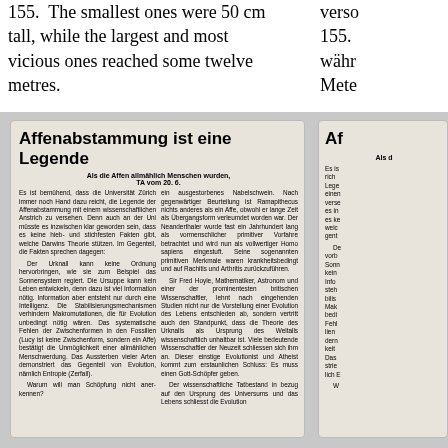155. The smallest ones were 50 cm tall, while the largest and most vicious ones reached some twelve metres.
155. verso währ Mete
[Figure (other): Newspaper clipping titled 'Affenabstammung ist eine Legende' with German text in two columns discussing evolution and creationism]
[Figure (other): Partial second newspaper clipping with same title 'Af...' partially visible on right side]